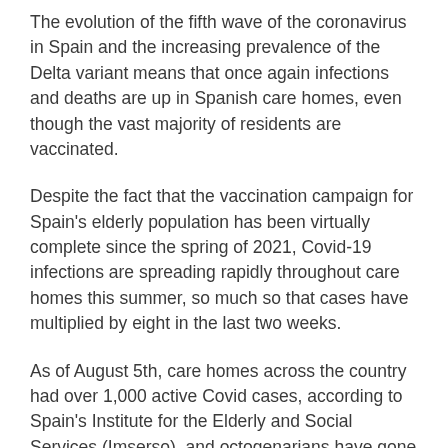The evolution of the fifth wave of the coronavirus in Spain and the increasing prevalence of the Delta variant means that once again infections and deaths are up in Spanish care homes, even though the vast majority of residents are vaccinated.
Despite the fact that the vaccination campaign for Spain's elderly population has been virtually complete since the spring of 2021, Covid-19 infections are spreading rapidly throughout care homes this summer, so much so that cases have multiplied by eight in the last two weeks.
As of August 5th, care homes across the country had over 1,000 active Covid cases, according to Spain's Institute for the Elderly and Social Services (Imserso), and octogenarians have gone from